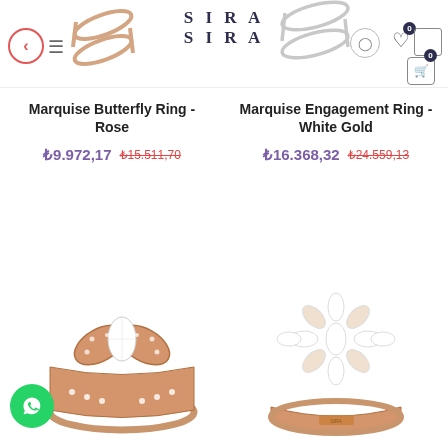[Figure (screenshot): Website header with back button, hamburger menu, ring image on left, SIRA SIRA logo center, ring image on right, user/heart/cart icons]
Marquise Butterfly Ring - Rose
₺9.972,17  ₺15.511,70
Marquise Engagement Ring - White Gold
₺16.368,32  ₺24.559,13
[Figure (photo): Rose gold marquise butterfly diamond ring with pave setting]
[Figure (photo): Rose gold flower cluster marquise diamond ring]